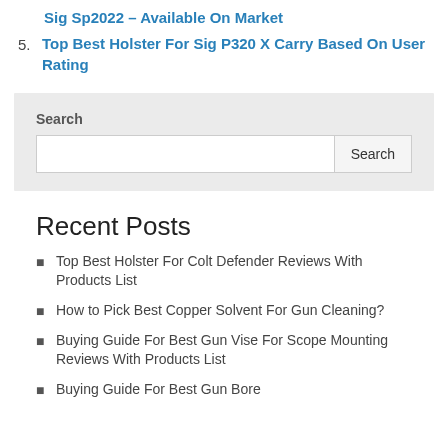Sig Sp2022 – Available On Market
5. Top Best Holster For Sig P320 X Carry Based On User Rating
Search
Recent Posts
Top Best Holster For Colt Defender Reviews With Products List
How to Pick Best Copper Solvent For Gun Cleaning?
Buying Guide For Best Gun Vise For Scope Mounting Reviews With Products List
Buying Guide For Best Gun Bore